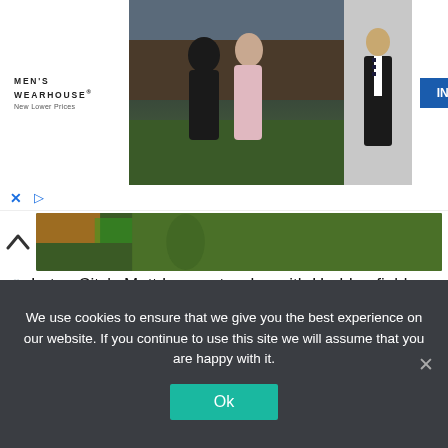[Figure (photo): Men's Wearhouse advertisement banner showing a couple in formal/prom wear and a man in a tuxedo, with an INFO button]
[Figure (photo): Partial sports photo strip showing green grass, likely a football/soccer pitch, with a chevron/up arrow on the left side]
📷Luton City's Matt Ingram tussles with Huddersfield City's Harry Toffolo. Photographer: Jason Cairnduff/Motion Pictures/Reuters
Up to date at 21.28 BST
74 minutes: Mistake by Hogg permits Gornick, and Nicholls makes a superb save.
We use cookies to ensure that we give you the best experience on our website. If you continue to use this site we will assume that you are happy with it.